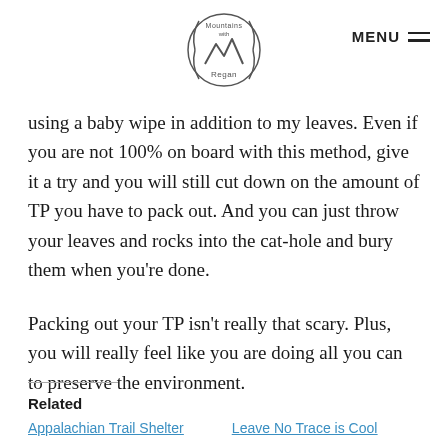Mountains with Regan | MENU
using a baby wipe in addition to my leaves. Even if you are not 100% on board with this method, give it a try and you will still cut down on the amount of TP you have to pack out. And you can just throw your leaves and rocks into the cat-hole and bury them when you're done.
Packing out your TP isn't really that scary. Plus, you will really feel like you are doing all you can to preserve the environment.
Related
Appalachian Trail Shelter
Leave No Trace is Cool